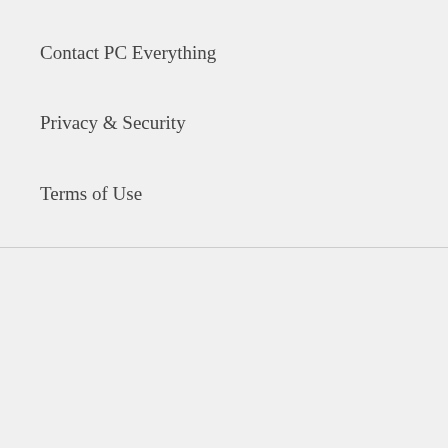Contact PC Everything
Privacy & Security
Terms of Use
[Figure (illustration): RSS feed icon — three curved arcs suggesting a signal, in dark gray]
© 2022, Pest Control Everything Powered by PC Analytic, LLC. Please be advised that Pest Control Everything is a participant in the Amazon Services LLC Associates Program, an affiliate advertising program designed to provide a means for sites to earn advertising fees by advertising and linking to Amazon.com.